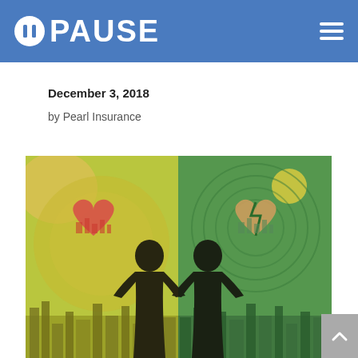PAUSE
December 3, 2018
by Pearl Insurance
[Figure (illustration): Artistic illustration showing two silhouetted figures facing away from each other. Left side has a warm yellow-green background with a whole pink/red heart symbol and city skyline. Right side has a cool green background with a broken pink heart symbol and city skyline, representing a couple before and after a breakup.]